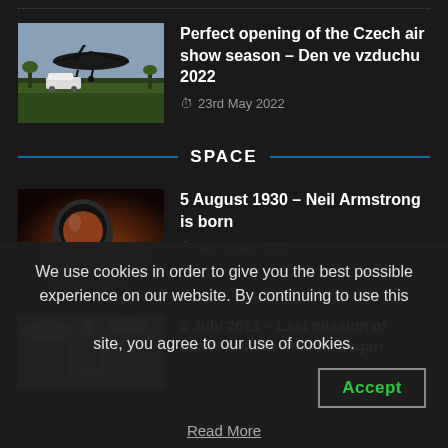[Figure (photo): Thumbnail of aircraft at Czech air show]
Perfect opening of the Czech air show season – Den ve vzduchu 2022
23rd May 2022
SPACE
[Figure (photo): Thumbnail portrait of Neil Armstrong in space suit]
5 August 1930 – Neil Armstrong is born
4th August 2022
[Figure (photo): Thumbnail of space shuttle Atlantis launch]
8 July 2011 – Last mission of space shuttle Atlantis began
We use cookies in order to give you the best possible experience on our website. By continuing to use this site, you agree to our use of cookies.
Accept
Read More